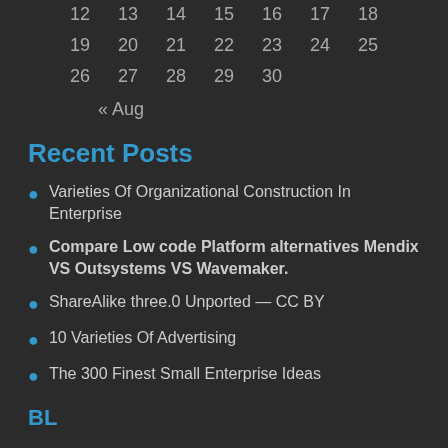| 12 | 13 | 14 | 15 | 16 | 17 | 18 |
| 19 | 20 | 21 | 22 | 23 | 24 | 25 |
| 26 | 27 | 28 | 29 | 30 |  |  |
« Aug
Recent Posts
Varieties Of Organizational Construction In Enterprise
Compare Low code Platform alternatives Mendix VS Outsystems VS Wavemaker.
ShareAlike three.0 Unported — CC BY
10 Varieties Of Advertising
The 300 Finest Small Enterprise Ideas
BL